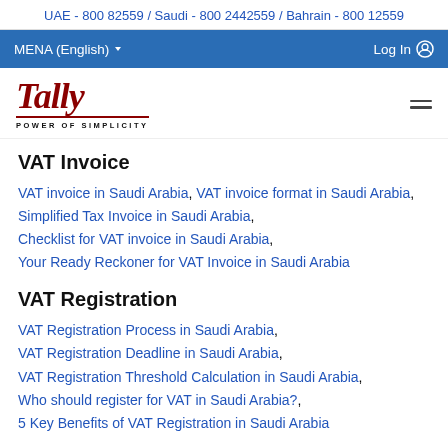UAE - 800 82559 / Saudi - 800 2442559 / Bahrain - 800 12559
MENA (English)   Log In
[Figure (logo): Tally logo with script text 'Tally' in dark red and tagline 'POWER OF SIMPLICITY']
VAT Invoice
VAT invoice in Saudi Arabia, VAT invoice format in Saudi Arabia, Simplified Tax Invoice in Saudi Arabia, Checklist for VAT invoice in Saudi Arabia, Your Ready Reckoner for VAT Invoice in Saudi Arabia
VAT Registration
VAT Registration Process in Saudi Arabia, VAT Registration Deadline in Saudi Arabia, VAT Registration Threshold Calculation in Saudi Arabia, Who should register for VAT in Saudi Arabia?, 5 Key Benefits of VAT Registration in Saudi Arabia
VAT Payment